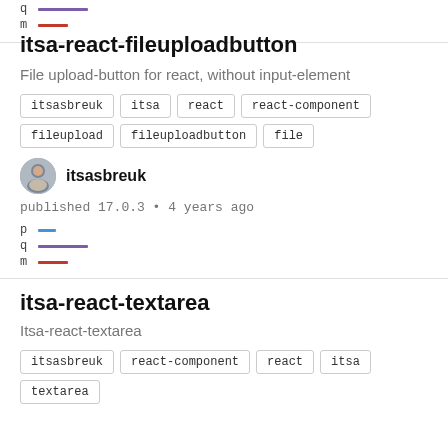[Figure (infographic): Legend rows for q (purple line) and m (red line)]
itsa-react-fileuploadbutton
File upload-button for react, without input-element
itsasbreuk
itsa
react
react-component
fileupload
fileuploadbutton
file
[Figure (photo): Author avatar photo of itsasbreuk]
itsasbreuk
published 17.0.3 • 4 years ago
[Figure (infographic): Legend rows for p (blue dash), q (purple line), m (red line)]
itsa-react-textarea
Itsa-react-textarea
itsasbreuk
react-component
react
itsa
textarea